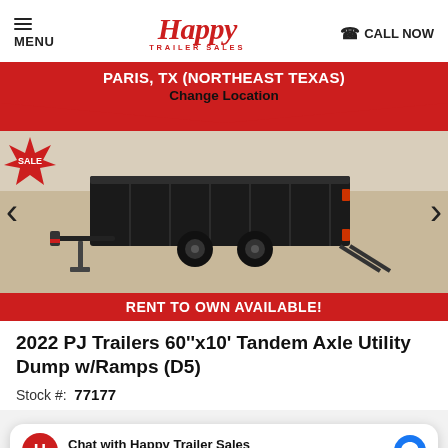MENU | Happy Trailer Sales | CALL NOW
PARIS, TX (NORTHEAST TEXAS)
Change Location
[Figure (photo): 2022 PJ Trailers 60''x10' Tandem Axle Utility Dump w/Ramps (D5) — black dump trailer with ramps, shown outdoors. Red sale badge in top-left corner. Rent To Own Available banner below.]
2022 PJ Trailers 60''x10' Tandem Axle Utility Dump w/Ramps (D5)
Stock #:  77177
Chat with Happy Trailer Sales
Hi! How can we help you?
Length:  10'